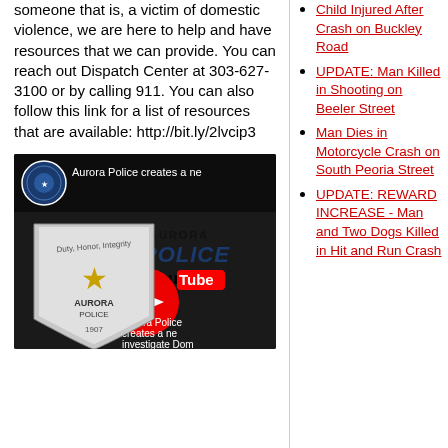someone that is, a victim of domestic violence, we are here to help and have resources that we can provide. You can reach out Dispatch Center at 303-627-3100 or by calling 911. You can also follow this link for a list of resources that are available: http://bit.ly/2lvcip3
[Figure (screenshot): YouTube video thumbnail for Aurora Police video about domestic violence investigation, showing the Aurora Police badge and YouTube play button overlay]
Child Injured After Crash on Buckley Road
UPDATE: Man Killed in Shooting on Beeler Street
Man Dies in Motorcycle Crash on South Peoria Street
UPDATE: REWARD INCREASE - Man and Two Dogs Killed in Hit and Run Crash